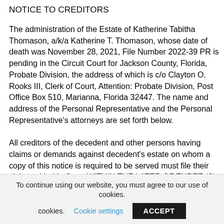NOTICE TO CREDITORS
The administration of the Estate of Katherine Tabitha Thomason, a/k/a Katherine T. Thomason, whose date of death was November 28, 2021, File Number 2022-39 PR is pending in the Circuit Court for Jackson County, Florida, Probate Division, the address of which is c/o Clayton O. Rooks III, Clerk of Court, Attention: Probate Division, Post Office Box 510, Marianna, Florida 32447. The name and address of the Personal Representative and the Personal Representative's attorneys are set forth below.
All creditors of the decedent and other persons having claims or demands against decedent's estate on whom a copy of this notice is required to be served must file their claims with this Court WITHIN THE LATER OF THREE (3) MONTHS AFTER
To continue using our website, you must agree to our use of cookies.
Cookie settings
ACCEPT